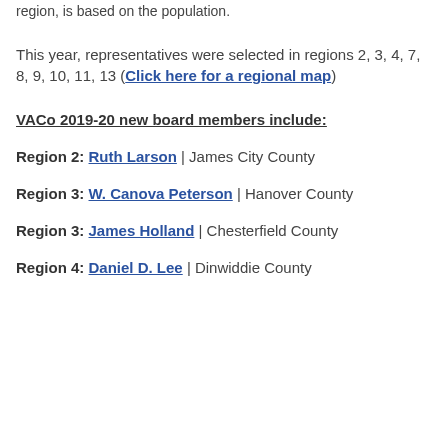region, is based on the population.
This year, representatives were selected in regions 2, 3, 4, 7, 8, 9, 10, 11, 13 (Click here for a regional map)
VACo 2019-20 new board members include:
Region 2: Ruth Larson | James City County
Region 3: W. Canova Peterson | Hanover County
Region 3: James Holland | Chesterfield County
Region 4: Daniel D. Lee | Dinwiddie County